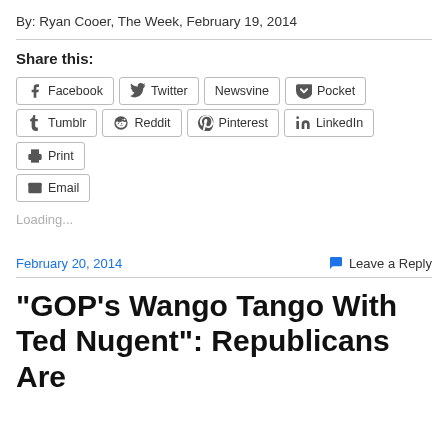By: Ryan Cooer, The Week, February 19, 2014
Share this:
Facebook  Twitter  Newsvine  Pocket  Tumblr  Reddit  Pinterest  LinkedIn  Print  Email
Loading...
February 20, 2014
Leave a Reply
“GOP’s Wango Tango With Ted Nugent”: Republicans Are